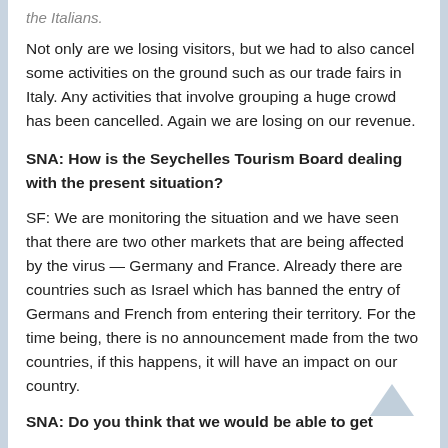the Italians.
Not only are we losing visitors, but we had to also cancel some activities on the ground such as our trade fairs in Italy. Any activities that involve grouping a huge crowd has been cancelled. Again we are losing on our revenue.
SNA: How is the Seychelles Tourism Board dealing with the present situation?
SF: We are monitoring the situation and we have seen that there are two other markets that are being affected by the virus — Germany and France. Already there are countries such as Israel which has banned the entry of Germans and French from entering their territory. For the time being, there is no announcement made from the two countries, if this happens, it will have an impact on our country.
SNA: Do you think that we would be able to get